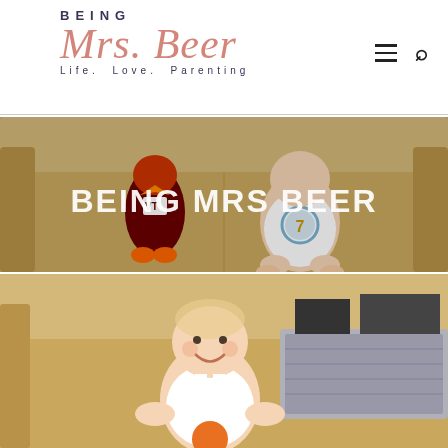Being Mrs. Beer — Life. Love. Parenting
[Figure (photo): Baby sitting on a sofa next to a Virginia Tech Hokie Bird mascot stuffed toy, wearing a white onesie with number 7. Text overlay reads BEING MRS BEER in white bold uppercase letters.]
[Figure (photo): Smiling baby in a white tank top sitting on a sofa, holding something orange, with a storage basket and household items visible in the background.]